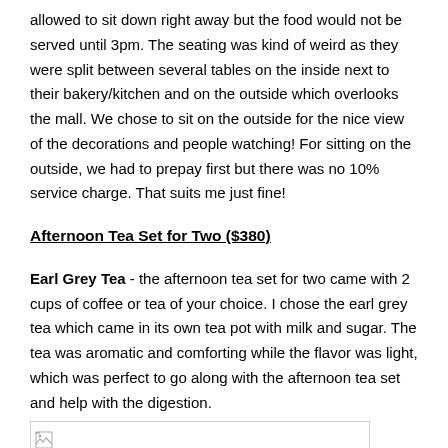allowed to sit down right away but the food would not be served until 3pm. The seating was kind of weird as they were split between several tables on the inside next to their bakery/kitchen and on the outside which overlooks the mall. We chose to sit on the outside for the nice view of the decorations and people watching! For sitting on the outside, we had to prepay first but there was no 10% service charge. That suits me just fine!
Afternoon Tea Set for Two ($380)
Earl Grey Tea - the afternoon tea set for two came with 2 cups of coffee or tea of your choice. I chose the earl grey tea which came in its own tea pot with milk and sugar. The tea was aromatic and comforting while the flavor was light, which was perfect to go along with the afternoon tea set and help with the digestion.
[Figure (photo): Image placeholder with broken image icon]